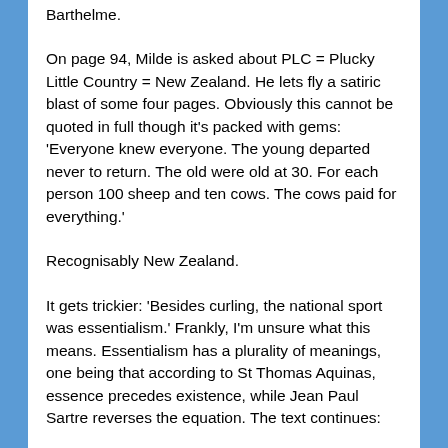Barthelme.
On page 94, Milde is asked about PLC = Plucky Little Country = New Zealand. He lets fly a satiric blast of some four pages. Obviously this cannot be quoted in full though it's packed with gems: 'Everyone knew everyone. The young departed never to return. The old were old at 30. For each person 100 sheep and ten cows. The cows paid for everything.'
Recognisably New Zealand.
It gets trickier: 'Besides curling, the national sport was essentialism.' Frankly, I'm unsure what this means. Essentialism has a plurality of meanings, one being that according to St Thomas Aquinas, essence precedes existence, while Jean Paul Sartre reverses the equation. The text continues: